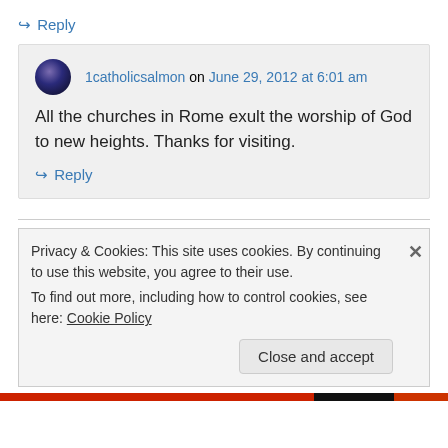↪ Reply
1catholicsalmon on June 29, 2012 at 6:01 am
All the churches in Rome exult the worship of God to new heights. Thanks for visiting.
↪ Reply
Privacy & Cookies: This site uses cookies. By continuing to use this website, you agree to their use.
To find out more, including how to control cookies, see here: Cookie Policy
Close and accept